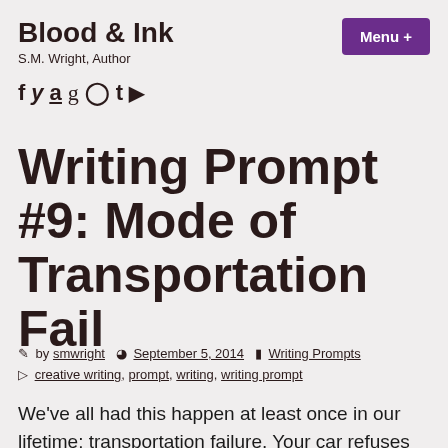Blood & Ink
S.M. Wright, Author
[Figure (other): Social media icons: Facebook, Twitter, Amazon, Goodreads, Instagram, Tumblr, YouTube]
Writing Prompt #9: Mode of Transportation Fail
by smwright  September 5, 2014  Writing Prompts
creative writing, prompt, writing, writing prompt
We've all had this happen at least once in our lifetime: transportation failure. Your car refuses to start when you have an appointment to meet. You're cruising down the highway when your tire